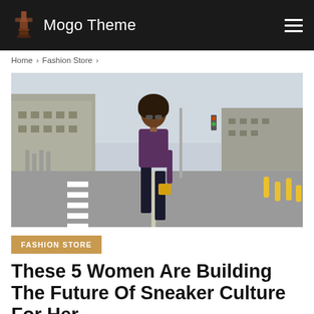Mogo Theme
Home > Fashion Store >
[Figure (photo): A woman with curly hair and sunglasses wearing a purple leather jacket and dark wide-leg trousers, carrying a small yellow bag, crossing a wide urban street with classical European-style buildings and yellow bollards in the background.]
FASHION STORE
These 5 Women Are Building The Future Of Sneaker Culture For Her